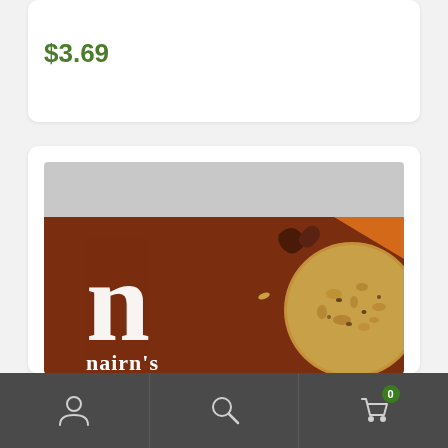$3.69
[Figure (photo): Product photo of Nairn's oat biscuits box showing the lowercase 'n' logo, a cinnamon stick, and an oat cookie on a brown background with orange accent]
Navigation bar with user icon, search icon, and cart icon showing 0 items